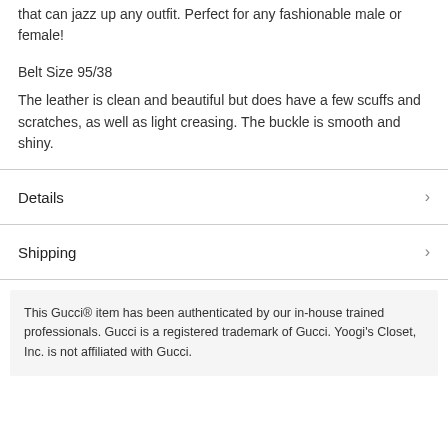that can jazz up any outfit. Perfect for any fashionable male or female!
Belt Size 95/38
The leather is clean and beautiful but does have a few scuffs and scratches, as well as light creasing. The buckle is smooth and shiny.
Details
Shipping
This Gucci® item has been authenticated by our in-house trained professionals. Gucci is a registered trademark of Gucci. Yoogi's Closet, Inc. is not affiliated with Gucci.